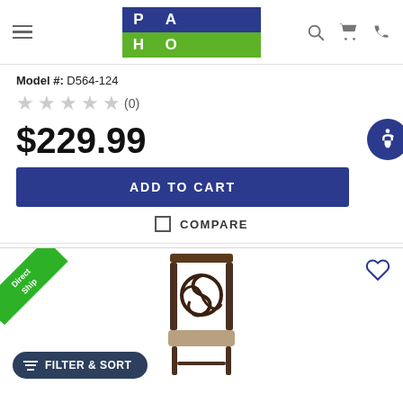Park Home logo with navigation icons (hamburger menu, search, cart, phone)
Model #: D564-124
★★★★★ (0)
$229.99
ADD TO CART
COMPARE
[Figure (photo): Dining chair with dark metal scroll-work back and upholstered beige seat, labeled Direct Ship]
FILTER & SORT